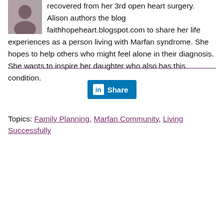recovered from her 3rd open heart surgery. Alison authors the blog faithhopeheart.blogspot.com to share her life experiences as a person living with Marfan syndrome. She hopes to help others who might feel alone in their diagnosis. She wants to inspire her daughter who also has this condition.
[Figure (photo): Small portrait photo of a woman with dark hair, shown in profile/headshot style, floated left beside text.]
Share (LinkedIn Share button)
Topics: Family Planning, Marfan Community, Living Successfully